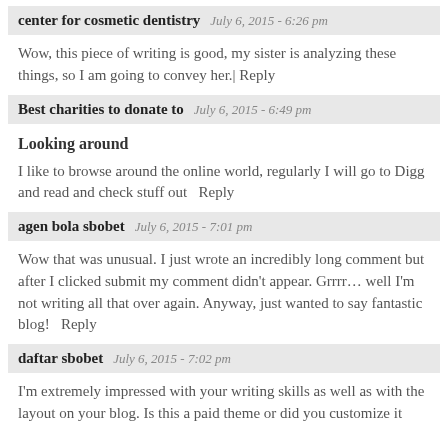center for cosmetic dentistry   July 6, 2015 - 6:26 pm
Wow, this piece of writing is good, my sister is analyzing these things, so I am going to convey her. | Reply
Best charities to donate to   July 6, 2015 - 6:49 pm
Looking around
I like to browse around the online world, regularly I will go to Digg and read and check stuff out   Reply
agen bola sbobet   July 6, 2015 - 7:01 pm
Wow that was unusual. I just wrote an incredibly long comment but after I clicked submit my comment didn't appear. Grrrr… well I'm not writing all that over again. Anyway, just wanted to say fantastic blog!   Reply
daftar sbobet   July 6, 2015 - 7:02 pm
I'm extremely impressed with your writing skills as well as with the layout on your blog. Is this a paid theme or did you customize it